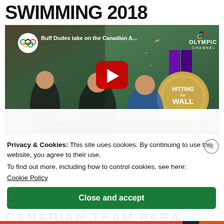SWIMMING 2018
[Figure (screenshot): YouTube video thumbnail showing Olympic Channel video titled 'Buff Dudes take on the Canadian A...' with two muscular men and a woman, a red play button in center, and a gold medal with 'HITTING THE WALL' text on the right. Video controls show 00:00 / 10:05.]
Privacy & Cookies: This site uses cookies. By continuing to use this website, you agree to their use.
To find out more, including how to control cookies, see here:
Cookie Policy
Close and accept